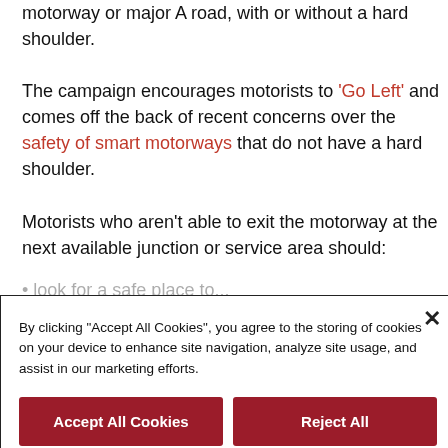motorway or major A road, with or without a hard shoulder.
The campaign encourages motorists to 'Go Left' and comes off the back of recent concerns over the safety of smart motorways that do not have a hard shoulder.
Motorists who aren't able to exit the motorway at the next available junction or service area should:
[partially visible list item]
By clicking "Accept All Cookies", you agree to the storing of cookies on your device to enhance site navigation, analyze site usage, and assist in our marketing efforts.
Accept All Cookies
Reject All
Cookies Settings